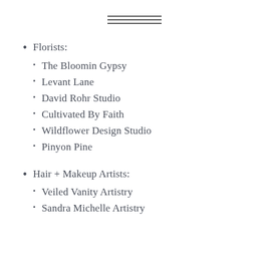[Figure (other): Three horizontal parallel lines forming a decorative divider at the top center of the page]
Florists:
The Bloomin Gypsy
Levant Lane
David Rohr Studio
Cultivated By Faith
Wildflower Design Studio
Pinyon Pine
Hair + Makeup Artists:
Veiled Vanity Artistry
Sandra Michelle Artistry